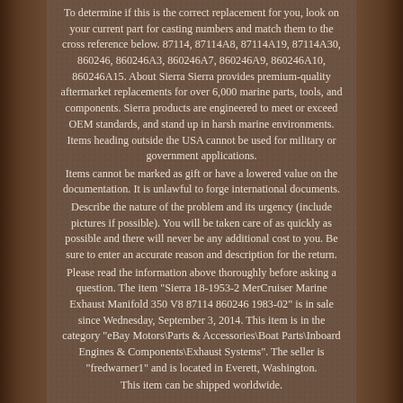To determine if this is the correct replacement for you, look on your current part for casting numbers and match them to the cross reference below. 87114, 87114A8, 87114A19, 87114A30, 860246, 860246A3, 860246A7, 860246A9, 860246A10, 860246A15. About Sierra Sierra provides premium-quality aftermarket replacements for over 6,000 marine parts, tools, and components. Sierra products are engineered to meet or exceed OEM standards, and stand up in harsh marine environments. Items heading outside the USA cannot be used for military or government applications.
Items cannot be marked as gift or have a lowered value on the documentation. It is unlawful to forge international documents.
Describe the nature of the problem and its urgency (include pictures if possible). You will be taken care of as quickly as possible and there will never be any additional cost to you. Be sure to enter an accurate reason and description for the return.
Please read the information above thoroughly before asking a question. The item "Sierra 18-1953-2 MerCruiser Marine Exhaust Manifold 350 V8 87114 860246 1983-02" is in sale since Wednesday, September 3, 2014. This item is in the category "eBay Motors\Parts & Accessories\Boat Parts\Inboard Engines & Components\Exhaust Systems". The seller is "fredwarner1" and is located in Everett, Washington.
This item can be shipped worldwide.